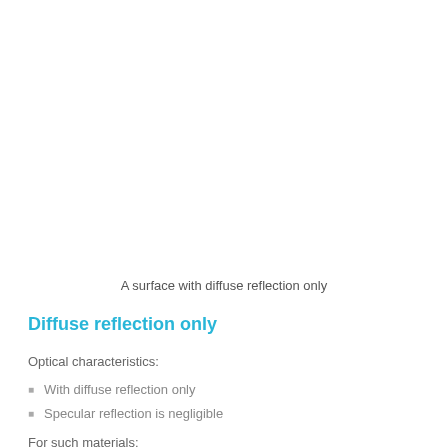A surface with diffuse reflection only
Diffuse reflection only
Optical characteristics:
With diffuse reflection only
Specular reflection is negligible
For such materials: